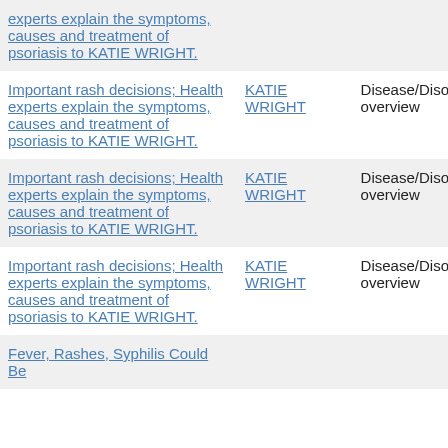| Important rash decisions; Health experts explain the symptoms, causes and treatment of psoriasis to KATIE WRIGHT. |  |  |
| Important rash decisions; Health experts explain the symptoms, causes and treatment of psoriasis to KATIE WRIGHT. | KATIE WRIGHT | Disease/Disorder overview |
| Important rash decisions; Health experts explain the symptoms, causes and treatment of psoriasis to KATIE WRIGHT. | KATIE WRIGHT | Disease/Disorder overview |
| Important rash decisions; Health experts explain the symptoms, causes and treatment of psoriasis to KATIE WRIGHT. | KATIE WRIGHT | Disease/Disorder overview |
| Fever, Rashes, Syphilis Could Be... |  |  |